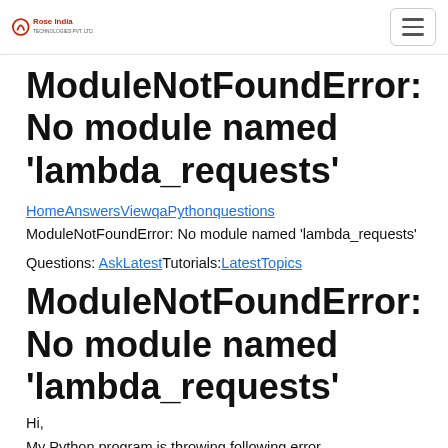Rose India [logo] [hamburger menu]
ModuleNotFoundError: No module named 'lambda_requests'
HomeAnswersViewqaPythonquestions
ModuleNotFoundError: No module named 'lambda_requests'
Questions: AskLatestTutorials:LatestTopics
ModuleNotFoundError: No module named 'lambda_requests'
Hi,
My Python program is throwing following error